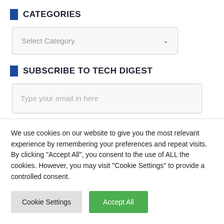CATEGORIES
[Figure (screenshot): Dropdown select input with placeholder 'Select Category' and a chevron arrow]
SUBSCRIBE TO TECH DIGEST
[Figure (screenshot): Text input field with placeholder 'Type your email in here']
We use cookies on our website to give you the most relevant experience by remembering your preferences and repeat visits. By clicking "Accept All", you consent to the use of ALL the cookies. However, you may visit "Cookie Settings" to provide a controlled consent.
Cookie Settings | Accept All